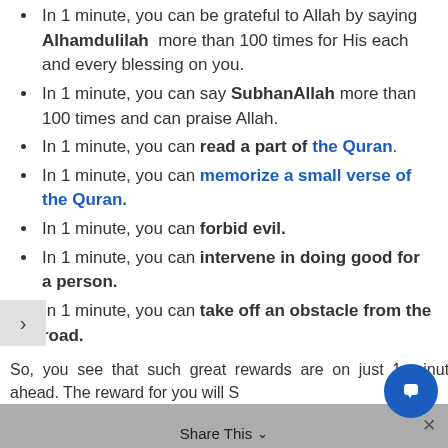In 1 minute, you can be grateful to Allah by saying Alhamdulilah more than 100 times for His each and every blessing on you.
In 1 minute, you can say SubhanAllah more than 100 times and can praise Allah.
In 1 minute, you can read a part of the Quran.
In 1 minute, you can memorize a small verse of the Quran.
In 1 minute, you can forbid evil.
In 1 minute, you can intervene in doing good for a person.
In 1 minute, you can take off an obstacle from the road.
In 1 minute, you can comfort a distressed and troubled person.
So, you see that such great rewards are on just 1 minute ahead. The reward for you will S...